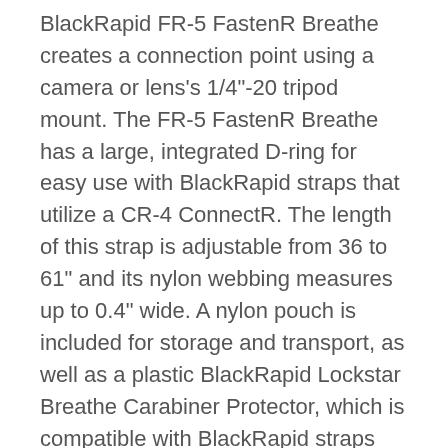BlackRapid FR-5 FastenR Breathe creates a connection point using a camera or lens's 1/4"-20 tripod mount. The FR-5 FastenR Breathe has a large, integrated D-ring for easy use with BlackRapid straps that utilize a CR-4 ConnectR. The length of this strap is adjustable from 36 to 61" and its nylon webbing measures up to 0.4" wide. A nylon pouch is included for storage and transport, as well as a plastic BlackRapid Lockstar Breathe Carabiner Protector, which is compatible with BlackRapid straps that feature a CR-4 ConnectR locking carabiner. By folding over a CR-4 ConnectR, the Lockstar Breathe prevents unintentional user contact with a CR-4 ConnectR that could cause it to accidentally unlock. Additionally, it helps to block the metal surface of a CR-4 ConnectR from scratching your camera.